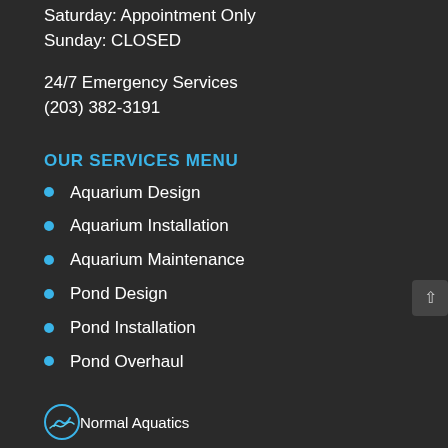Saturday: Appointment Only
Sunday: CLOSED
24/7 Emergency Services
(203) 382-3191
OUR SERVICES MENU
Aquarium Design
Aquarium Installation
Aquarium Maintenance
Pond Design
Pond Installation
Pond Overhaul
[Figure (logo): Normal Aquatics logo with circular fish icon at bottom of page]